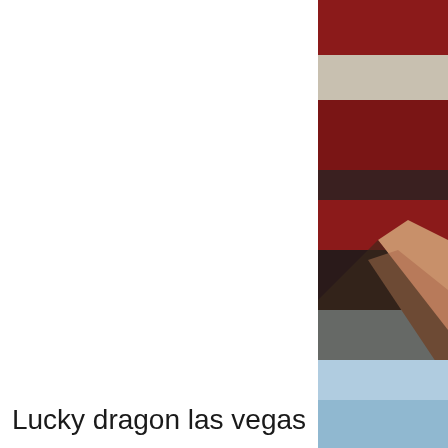[Figure (photo): Partial photo visible on right edge of page showing red and white striped fabric or banner (possibly an American flag) in upper portion, with a peach/skin-toned triangular shape in the middle, and light blue sky at the bottom right.]
Lucky dragon las vegas